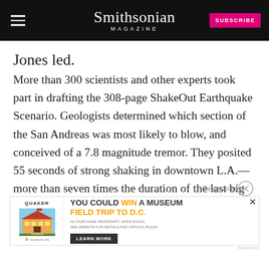Smithsonian MAGAZINE
Jones led.
More than 300 scientists and other experts took part in drafting the 308-page ShakeOut Earthquake Scenario. Geologists determined which section of the San Andreas was most likely to blow, and conceived of a 7.8 magnitude tremor. They posited 55 seconds of strong shaking in downtown L.A.—more than seven times the duration of the last big L.A.-area temblor, the 1994 Northridge quake, magnitude unknown fault. There would be landslides and
[Figure (screenshot): Quaker advertisement banner: 'You could WIN a MUSEUM FIELD TRIP TO D.C.' with Learn More button and museum illustration]